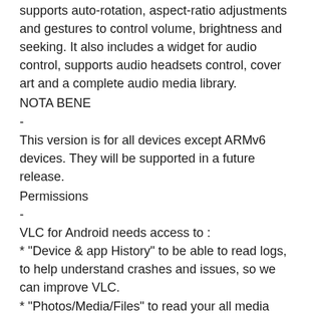supports auto-rotation, aspect-ratio adjustments and gestures to control volume, brightness and seeking. It also includes a widget for audio control, supports audio headsets control, cover art and a complete audio media library.
NOTA BENE
-
This version is for all devices except ARMv6 devices. They will be supported in a future release.
Permissions
-
VLC for Android needs access to :
* "Device & app History" to be able to read logs, to help understand crashes and issues, so we can improve VLC.
* "Photos/Media/Files" to read your all media files :)
* "Device ID & call information" in order to pause music/video during incoming and outgoing phone calls.
* "Other" to check network connections and hide the streaming parts when needed.
Permission Details :
* It needs "read phone status an identity", in order to